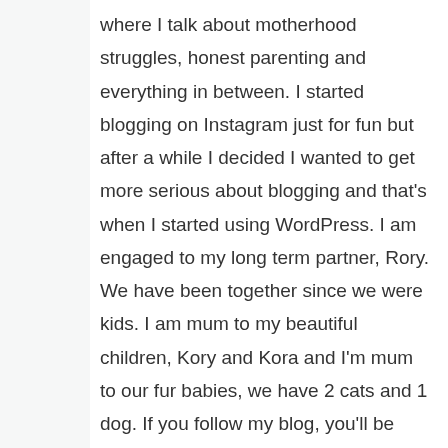where I talk about motherhood struggles, honest parenting and everything in between. I started blogging on Instagram just for fun but after a while I decided I wanted to get more serious about blogging and that's when I started using WordPress. I am engaged to my long term partner, Rory. We have been together since we were kids. I am mum to my beautiful children, Kory and Kora and I'm mum to our fur babies, we have 2 cats and 1 dog. If you follow my blog, you'll be hearing a lot more about me, our family and what we get up to. Other than being a mum, I enjoy reading, blogging (obviously), binge watching netflix and shopping. Sorry if you were hoping for something a bit more interesting – I'm actually rather boring! If you'd like to know more about me or my blog, feel free to contact me.